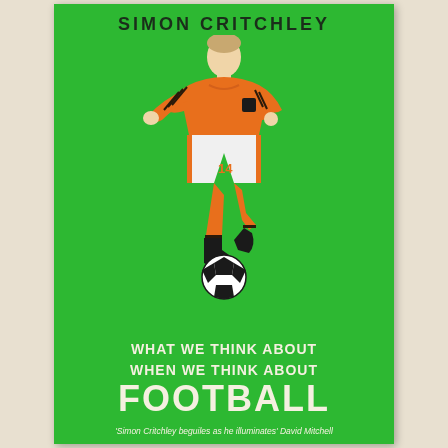SIMON CRITCHLEY
[Figure (illustration): Minimalist illustration of a footballer in orange Netherlands kit with number 14, dribbling a black and white football, on a bright green background]
WHAT WE THINK ABOUT WHEN WE THINK ABOUT FOOTBALL
'Simon Critchley beguiles as he illuminates' David Mitchell